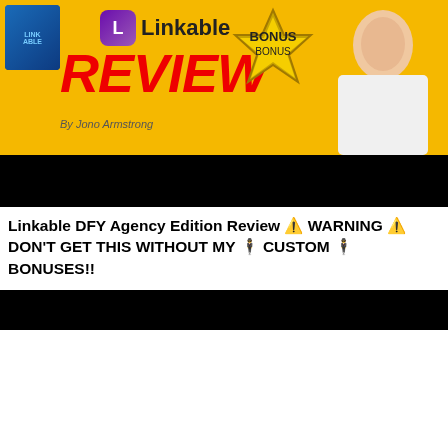[Figure (screenshot): Top banner: Linkable Review promotional image with yellow background, red REVIEW text, Linkable logo, product box, BONUS badge, and man pointing]
Linkable DFY Agency Edition Review ⚠ WARNING ⚠ DON'T GET THIS WITHOUT MY 🧑‍💼 CUSTOM 🧑‍💼 BONUSES!!
[Figure (screenshot): Bottom banner: Secret Affiliate System promotional image with yellow background, black and purple text, YouTube play button, BONUS badge, man with surprised expression, laptop, and Secret Affiliate System label]